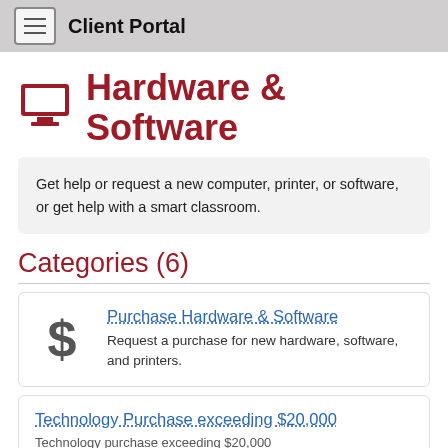Client Portal
Hardware & Software
Get help or request a new computer, printer, or software, or get help with a smart classroom.
Categories (6)
Purchase Hardware & Software
Request a purchase for new hardware, software, and printers.
Technology Purchase exceeding $20,000
Technology purchase exceeding $20,000